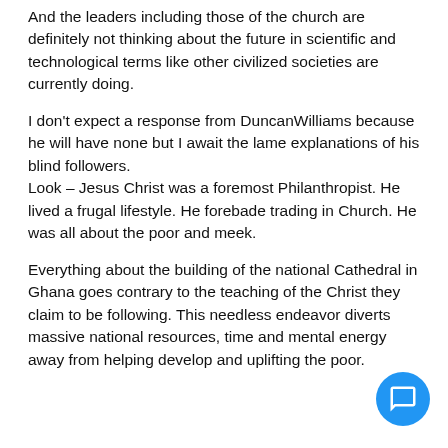And the leaders including those of the church are definitely not thinking about the future in scientific and technological terms like other civilized societies are currently doing.
I don't expect a response from DuncanWilliams because he will have none but I await the lame explanations of his blind followers. Look – Jesus Christ was a foremost Philanthropist. He lived a frugal lifestyle. He forebade trading in Church. He was all about the poor and meek.
Everything about the building of the national Cathedral in Ghana goes contrary to the teaching of the Christ they claim to be following. This needless endeavor diverts massive national resources, time and mental energy away from helping develop and uplifting the poor.